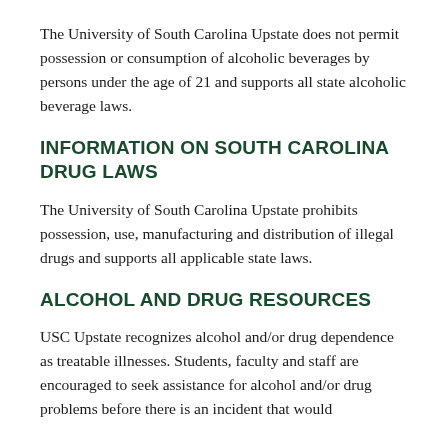The University of South Carolina Upstate does not permit possession or consumption of alcoholic beverages by persons under the age of 21 and supports all state alcoholic beverage laws.
INFORMATION ON SOUTH CAROLINA DRUG LAWS
The University of South Carolina Upstate prohibits possession, use, manufacturing and distribution of illegal drugs and supports all applicable state laws.
ALCOHOL AND DRUG RESOURCES
USC Upstate recognizes alcohol and/or drug dependence as treatable illnesses. Students, faculty and staff are encouraged to seek assistance for alcohol and/or drug problems before there is an incident that would